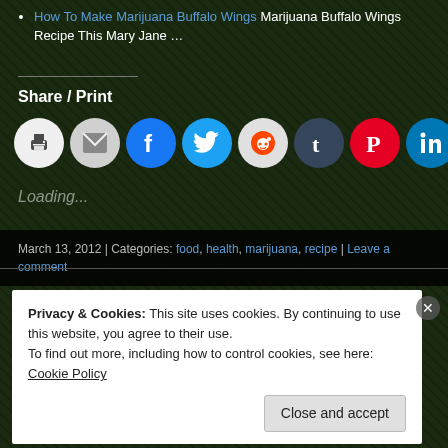How To Make Marijuana Buffalo Wings Marijuana Buffalo Wings Recipe This Mary Jane …
Share / Print
[Figure (infographic): Row of social share icon circles: print, email, Facebook, Twitter, Reddit, Tumblr, Pinterest, LinkedIn, Pocket]
Loading...
March 13, 2012 | Categories: food, health, marijuana, recipe | Leave a comment
Privacy & Cookies: This site uses cookies. By continuing to use this website, you agree to their use. To find out more, including how to control cookies, see here: Cookie Policy
Close and accept